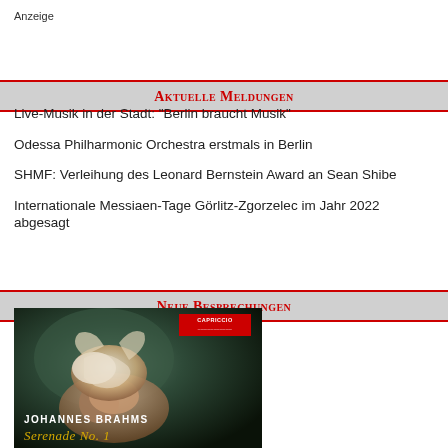Anzeige
Aktuelle Meldungen
Live-Musik in der Stadt: "Berlin braucht Musik"
Odessa Philharmonic Orchestra erstmals in Berlin
SHMF: Verleihung des Leonard Bernstein Award an Sean Shibe
Internationale Messiaen-Tage Görlitz-Zgorzelec im Jahr 2022 abgesagt
Neue Besprechungen
[Figure (photo): Album cover for Johannes Brahms Serenade No. 1 on Capriccio label, showing a figure holding a conch shell against a dark green background]